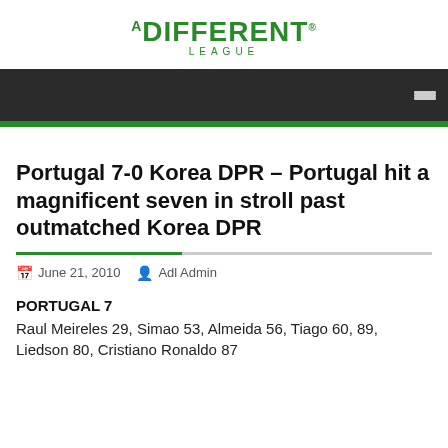A DIFFERENT LEAGUE
Portugal 7-0 Korea DPR – Portugal hit a magnificent seven in stroll past outmatched Korea DPR
June 21, 2010   Adl Admin
PORTUGAL 7
Raul Meireles 29, Simao 53, Almeida 56, Tiago 60, 89, Liedson 80, Cristiano Ronaldo 87